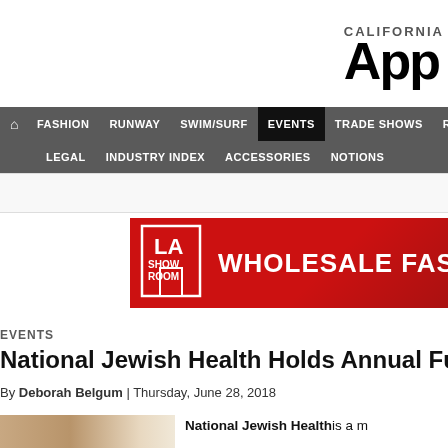California Apparel News
FASHION | RUNWAY | SWIM/SURF | EVENTS | TRADE SHOWS | RETAIL | LEGAL | INDUSTRY INDEX | ACCESSORIES | NOTIONS
[Figure (infographic): LA Showroom red advertisement banner with WHOLESALE FASHION text]
EVENTS
National Jewish Health Holds Annual Fund-rais
By Deborah Belgum | Thursday, June 28, 2018
National Jewish Health is a m